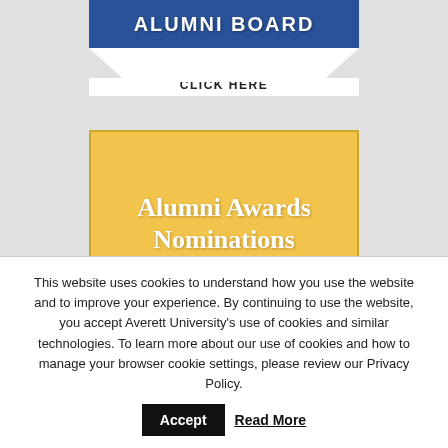[Figure (illustration): Partial blue Alumni Board button with 'CLICK HERE' tab at bottom, cut off at top of page]
[Figure (illustration): Yellow Alumni Awards Nominations button with 'CLICK HERE' tab]
[Figure (illustration): Partial road/driving infographic with green and blue colors, partially cut off at bottom]
This website uses cookies to understand how you use the website and to improve your experience. By continuing to use the website, you accept Averett University's use of cookies and similar technologies. To learn more about our use of cookies and how to manage your browser cookie settings, please review our Privacy Policy.